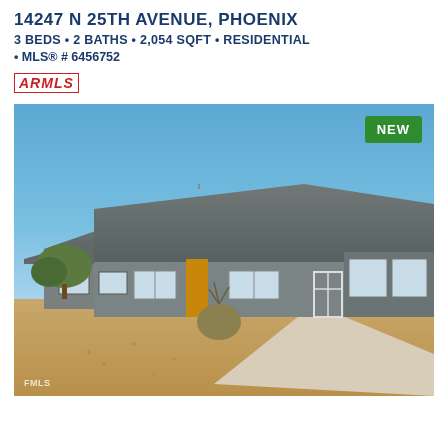14247 N 25TH AVENUE, PHOENIX
3 BEDS • 2 BATHS • 2,054 SQFT • RESIDENTIAL
• MLS® # 6456752
[Figure (logo): ARMLS logo in red italic bold text with border]
[Figure (photo): Exterior photo of a single-story residential home with gray painted block exterior, yellow front door, carport on right, desert landscaping with gravel front yard, clear blue sky, 'NEW' green badge in top right corner, FMLS watermark in bottom left]